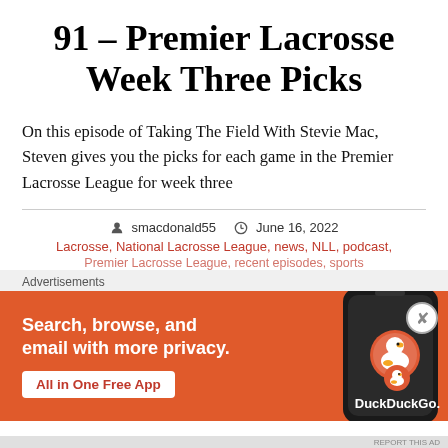91 – Premier Lacrosse Week Three Picks
On this episode of Taking The Field With Stevie Mac, Steven gives you the picks for each game in the Premier Lacrosse League for week three
smacdonald55   June 16, 2022
Lacrosse, National Lacrosse League, news, NLL, podcast,
Premier Lacrosse League, recent episodes, sports
[Figure (screenshot): DuckDuckGo advertisement banner: orange background with text 'Search, browse, and email with more privacy. All in One Free App' and a phone image on the right with DuckDuckGo logo.]